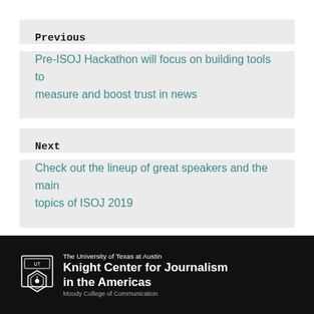Previous
Pre-ISOJ Hackathon will focus on building tools to measure and boost trust in news
Next
Check out the lineup of great speakers and the main topics of ISOJ 2019
The University of Texas at Austin Knight Center for Journalism in the Americas